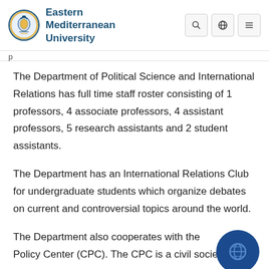Eastern Mediterranean University
The Department of Political Science and International Relations has full time staff roster consisting of 1 professors, 4 associate professors, 4 assistant professors, 5 research assistants and 2 student assistants.
The Department has an International Relations Club for undergraduate students which organize debates on current and controversial topics around the world.
The Department also cooperates with the Cyprus Policy Center (CPC). The CPC is a civil society...